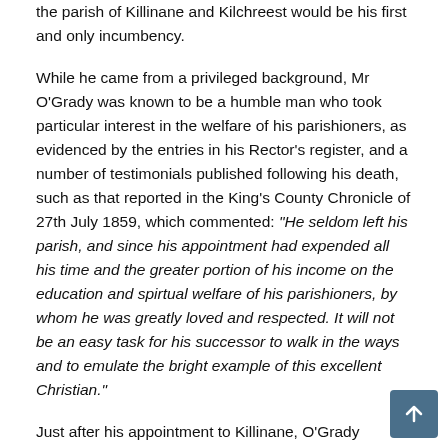the parish of Killinane and Kilchreest would be his first and only incumbency.
While he came from a privileged background, Mr O'Grady was known to be a humble man who took particular interest in the welfare of his parishioners, as evidenced by the entries in his Rector's register, and a number of testimonials published following his death, such as that reported in the King's County Chronicle of 27th July 1859, which commented: “He seldom left his parish, and since his appointment had expended all his time and the greater portion of his income on the education and spirtual welfare of his parishioners, by whom he was greatly loved and respected. It will not be an easy task for his successor to walk in the ways and to emulate the bright example of this excellent Christian.”
Just after his appointment to Killinane, O'Grady opened his personal register in 1837 (prior to the Great Famine period)